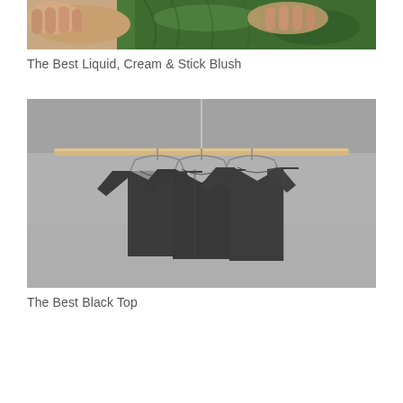[Figure (photo): Close-up photo of hands holding or adjusting green fabric/clothing item]
The Best Liquid, Cream & Stick Blush
[Figure (photo): Three dark charcoal/black t-shirts hanging on metal hangers on a wooden rod against a grey concrete background]
The Best Black Top